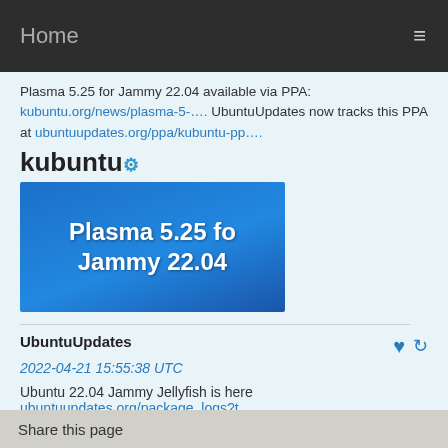Home
Plasma 5.25 for Jammy 22.04 available via PPA: kubuntu.org/news/plasma-5-…. UbuntuUpdates now tracks this PPA at ubuntuupdates.org/ppa/kubuntu-pp….
[Figure (screenshot): Kubuntu logo followed by a blue banner image showing 'Plasma 5.25 fo Jammy 22.04' text in white on a blue background]
UbuntuUpdates
2022-04-21 15:55:38 UTC
Ubuntu 22.04 Jammy Jellyfish is here ubuntuupdates.org/package_logs?t…
[Figure (photo): Purple/magenta colored abstract jellyfish image]
Share this page